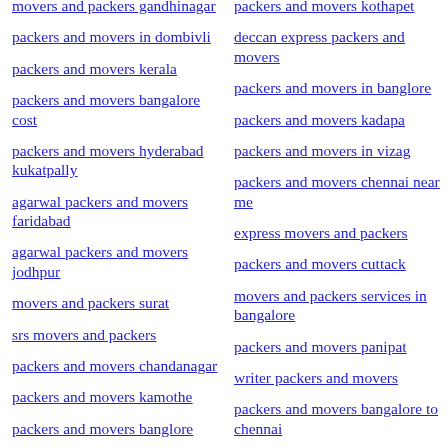movers and packers gandhinagar
packers and movers in dombivli
packers and movers kerala
packers and movers bangalore cost
packers and movers hyderabad kukatpally
agarwal packers and movers faridabad
agarwal packers and movers jodhpur
movers and packers surat
srs movers and packers
packers and movers chandanagar
packers and movers kamothe
packers and movers banglore
agarwal packers and movers gandhinagar
packers and movers kothapet
deccan express packers and movers
packers and movers in banglore
packers and movers kadapa
packers and movers in vizag
packers and movers chennai near me
express movers and packers
packers and movers cuttack
movers and packers services in bangalore
packers and movers panipat
writer packers and movers
packers and movers bangalore to chennai
packers and movers nagarbhavi